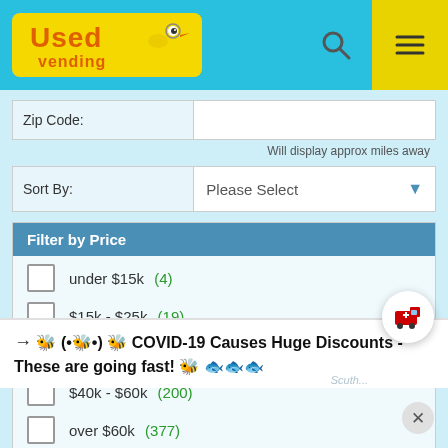[Figure (logo): Used Vending logo - yellow text with cartoon bird on blue background]
Zip Code:
Will display approx miles away
Sort By:
Please Select
Filter by Price
under $15k (4)
$15k - $25k (19)
$25k - $40k (142)
$40k - $60k (200)
over $60k (377)
→ 🐝 (•🐝•) 🐝 COVID-19 Causes Huge Discounts - These are going fast! 🐝 🐟🐟🐟